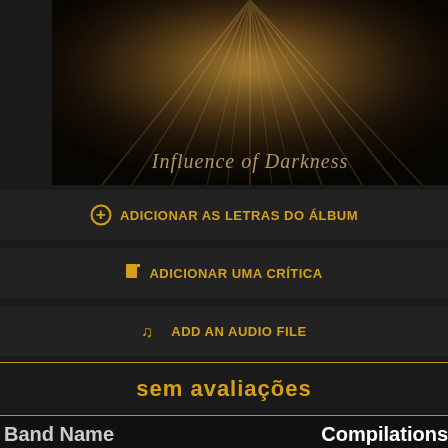[Figure (photo): Album art for 'Influence of Darkness' showing draped dark fabric/cloth in sepia/brown tones with italic script text 'Influence of Darkness' at the bottom]
⊕ ADICIONAR AS LETRAS DO ÁLBUM
🗋 ADICIONAR UMA CRÍTICA
♫ ADD AN AUDIO FILE
sem avaliações
Band Name
Compilations